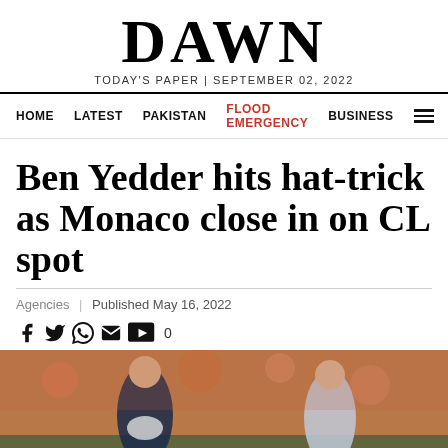DAWN
TODAY'S PAPER | SEPTEMBER 02, 2022
HOME  LATEST  PAKISTAN  FLOOD EMERGENCY  BUSINESS
Ben Yedder hits hat-trick as Monaco close in on CL spot
Agencies | Published May 16, 2022
[Figure (photo): Football players on a pitch with a blurred crowd background, two players visible in dark and light jerseys]